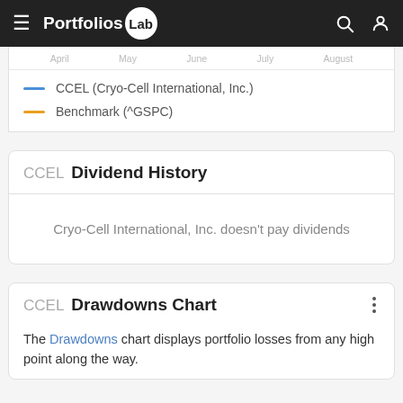PortfoliosLab
[Figure (other): Partial line chart showing axis labels: April, May, June, July, August]
CCEL (Cryo-Cell International, Inc.)
Benchmark (^GSPC)
CCEL Dividend History
Cryo-Cell International, Inc. doesn't pay dividends
CCEL Drawdowns Chart
The Drawdowns chart displays portfolio losses from any high point along the way.